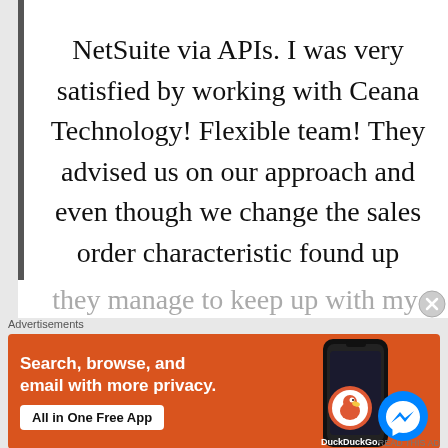NetSuite via APIs. I was very satisfied by working with Ceana Technology! Flexible team! They advised us on our approach and even though we change the sales order characteristic found up during one of the sprints, they manage to keep up with my
[Figure (screenshot): DuckDuckGo advertisement banner with orange background. Text reads: 'Search, browse, and email with more privacy. All in One Free App'. Shows phone mockup with DuckDuckGo logo and Messenger icon.]